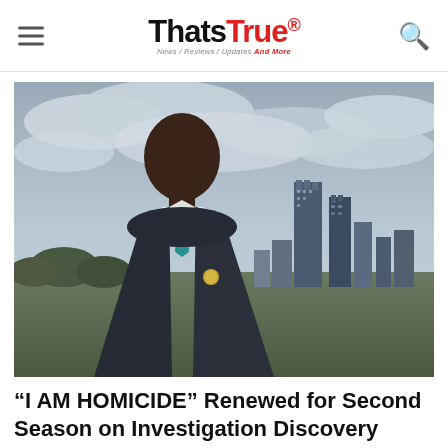ThatsTrueHD — News / Reviews / Updates And More
[Figure (photo): A man in a dark pinstripe suit with a teal tie and a police badge on his lapel, standing in front of a city skyline with cloudy sky. The city skyline appears to be Charlotte, NC.]
"I AM HOMICIDE" Renewed for Second Season on Investigation Discovery